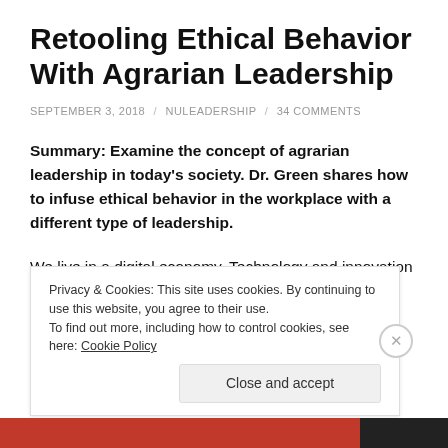Retooling Ethical Behavior With Agrarian Leadership
SEPTEMBER 3, 2018 / NULEADERSHIP / 34 COMMENTS
Summary: Examine the concept of agrarian leadership in today's society. Dr. Green shares how to infuse ethical behavior in the workplace with a different type of leadership.
We live in a digital economy. Technology and innovation continue to improve our wants and desires. Like the
Privacy & Cookies: This site uses cookies. By continuing to use this website, you agree to their use.
To find out more, including how to control cookies, see here: Cookie Policy
Close and accept